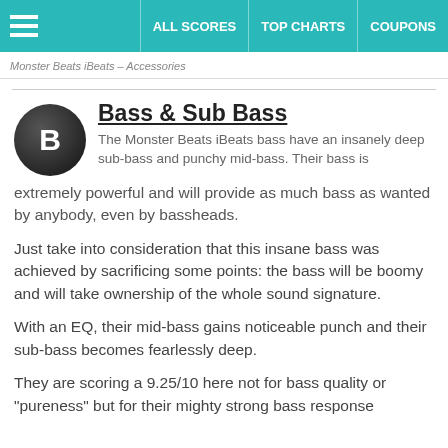ALL SCORES  TOP CHARTS  COUPONS
Monster Beats iBeats – Accessories
Bass & Sub Bass
The Monster Beats iBeats bass have an insanely deep sub-bass and punchy mid-bass. Their bass is extremely powerful and will provide as much bass as wanted by anybody, even by bassheads.
Just take into consideration that this insane bass was achieved by sacrificing some points: the bass will be boomy and will take ownership of the whole sound signature.
With an EQ, their mid-bass gains noticeable punch and their sub-bass becomes fearlessly deep.
They are scoring a 9.25/10 here not for bass quality or "pureness" but for their mighty strong bass response.